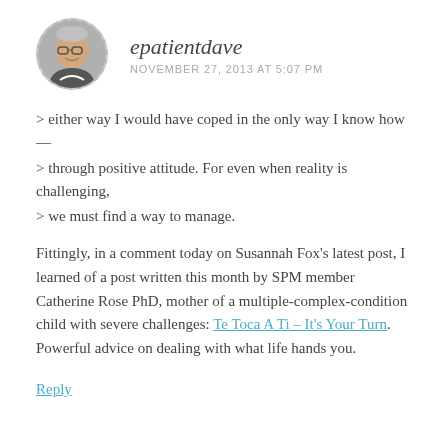epatientdave NOVEMBER 27, 2013 AT 5:07 PM
> either way I would have coped in the only way I know how—
> through positive attitude. For even when reality is challenging,
> we must find a way to manage.
Fittingly, in a comment today on Susannah Fox's latest post, I learned of a post written this month by SPM member Catherine Rose PhD, mother of a multiple-complex-condition child with severe challenges: Te Toca A Ti – It's Your Turn. Powerful advice on dealing with what life hands you.
Reply